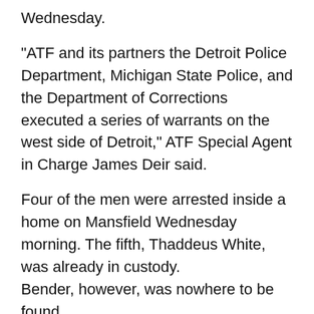Wednesday.
"ATF and its partners the Detroit Police Department, Michigan State Police, and the Department of Corrections executed a series of warrants on the west side of Detroit," ATF Special Agent in Charge James Deir said.
Four of the men were arrested inside a home on Mansfield Wednesday morning. The fifth, Thaddeus White, was already in custody.
Bender, however, was nowhere to be found.
"We have organizations throughout Detroit that are peddling poison everywhere they are - everywhere they go," Deir said.
He says Bender was considered particularly dangerous